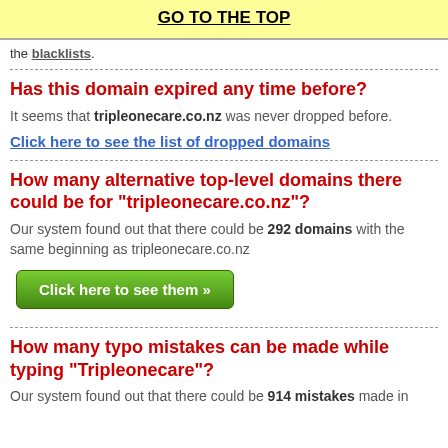GO TO THE TOP
the blacklists.
Has this domain expired any time before?
It seems that tripleonecare.co.nz was never dropped before.
Click here to see the list of dropped domains
How many alternative top-level domains there could be for "tripleonecare.co.nz"?
Our system found out that there could be 292 domains with the same beginning as tripleonecare.co.nz
Click here to see them »
How many typo mistakes can be made while typing "Tripleonecare"?
Our system found out that there could be 914 mistakes made in the...